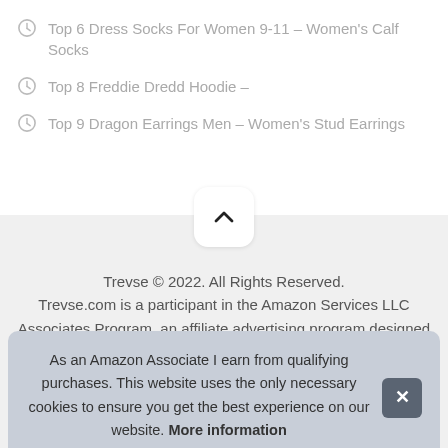Top 6 Dress Socks For Women 9-11 – Women's Calf Socks
Top 8 Freddie Dredd Hoodie –
Top 9 Dragon Earrings Men – Women's Stud Earrings
Trevse © 2022. All Rights Reserved.
Trevse.com is a participant in the Amazon Services LLC Associates Program, an affiliate advertising program designed
As an Amazon Associate I earn from qualifying purchases. This website uses the only necessary cookies to ensure you get the best experience on our website. More information